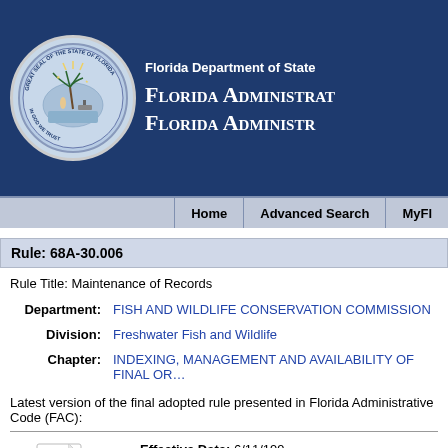Florida Department of State — Florida Administrative / Florida Administrative (header banner)
Rule: 68A-30.006
Rule Title: Maintenance of Records
Department: FISH AND WILDLIFE CONSERVATION COMMISSION
Division: Freshwater Fish and Wildlife
Chapter: INDEXING, MANAGEMENT AND AVAILABILITY OF FINAL OR...
Latest version of the final adopted rule presented in Florida Administrative Code (FAC):
Effective Date: 6/11/199...
History Notes: Rulemaking... Implementing... Formerly...
[Figure (other): Microsoft Word document icon with VIEW RULE link below]
VIEW RULE